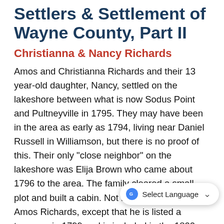Settlers & Settlement of Wayne County, Part II
Christianna & Nancy Richards
Amos and Christianna Richards and their 13 year-old daughter, Nancy, settled on the lakeshore between what is now Sodus Point and Pultneyville in 1795. They may have been in the area as early as 1794, living near Daniel Russell in Williamson, but there is no proof of this. Their only "close neighbor" on the lakeshore was Elija Brown who came about 1796 to the area. The family cleared a small plot and built a cabin. Not much is known about Amos Richards, except that he is listed a taxpayer in 1799 and is included in the 1800 census of the town of Sodus. It is thought that Richards either died or left the area about 1802. Christianna and Nancy stayed on their land and continued the task of clearing land, erecting a log barn, planting, and harvesting their crops. Early travelers, including